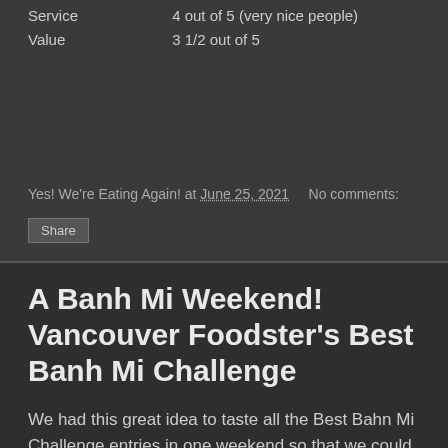Service    4 out of 5 (very nice people)
Value    3 1/2 out of 5
Yes! We're Eating Again! at June 25, 2021    No comments:
Share
A Banh Mi Weekend! Vancouver Foodster's Best Banh Mi Challenge
We had this great idea to taste all the Best Bahn Mi Challenge entries in one weekend so that we could best remember and compare one to another. The problem is that even with this scientific method of analysis, there was not really a clear far and away winner! They were all pretty amazing. Still, it was a tasty way to spend parts of a couple